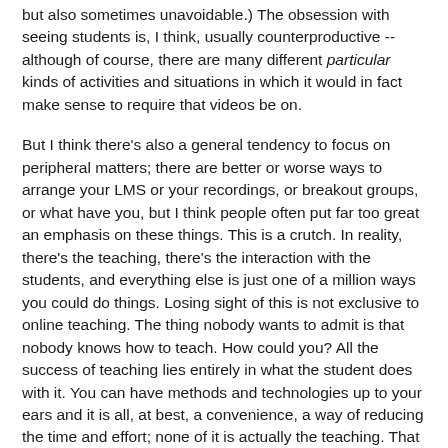but also sometimes unavoidable.) The obsession with seeing students is, I think, usually counterproductive -- although of course, there are many different particular kinds of activities and situations in which it would in fact make sense to require that videos be on.
But I think there's also a general tendency to focus on peripheral matters; there are better or worse ways to arrange your LMS or your recordings, or breakout groups, or what have you, but I think people often put far too great an emphasis on these things. This is a crutch. In reality, there's the teaching, there's the interaction with the students, and everything else is just one of a million ways you could do things. Losing sight of this is not exclusive to online teaching. The thing nobody wants to admit is that nobody knows how to teach. How could you? All the success of teaching lies entirely in what the student does with it. You can have methods and technologies up to your ears and it is all, at best, a convenience, a way of reducing the time and effort; none of it is actually the teaching. That just happens. Everything else is just there to set things up in a way that you think makes its happening more likely -- and that is a lot